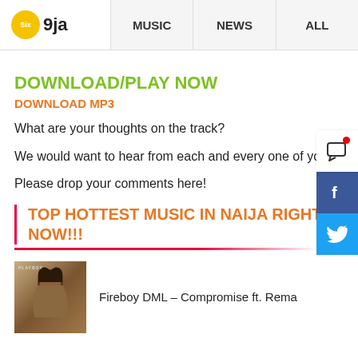Six 9ja | MUSIC | NEWS | ALL
DOWNLOAD/PLAY NOW
DOWNLOAD MP3
What are your thoughts on the track?
We would want to hear from each and every one of you.
Please drop your comments here!
TOP HOTTEST MUSIC IN NAIJA RIGHT NOW!!!
Fireboy DML – Compromise ft. Rema